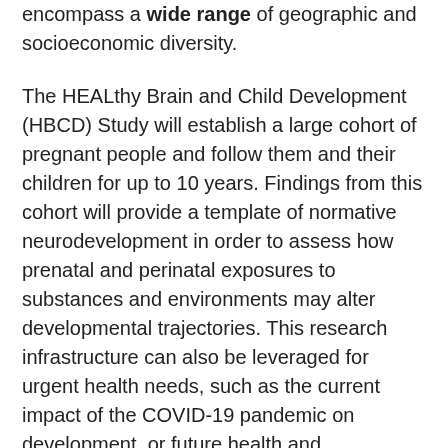encompass a wide range of geographic and socioeconomic diversity.
The HEALthy Brain and Child Development (HBCD) Study will establish a large cohort of pregnant people and follow them and their children for up to 10 years. Findings from this cohort will provide a template of normative neurodevelopment in order to assess how prenatal and perinatal exposures to substances and environments may alter developmental trajectories. This research infrastructure can also be leveraged for urgent health needs, such as the current impact of the COVID-19 pandemic on development, or future health and environmental crises.